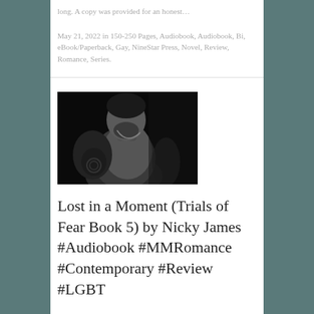long. A copy was provided for an honest…
May 21, 2022 in 150-250 Pages, Audiobook, Audiobook, Bi, eBook/Paperback, Gay, NineStar Press, Novel, Review, Romance, Series.
[Figure (photo): Black and white photo of a shirtless man with tattoos on his shoulder and arm, wearing a necklace, looking downward.]
Lost in a Moment (Trials of Fear Book 5) by Nicky James #Audiobook #MMRomance #Contemporary #Review #LGBT